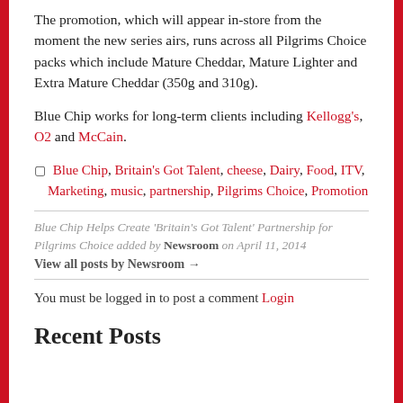The promotion, which will appear in-store from the moment the new series airs, runs across all Pilgrims Choice packs which include Mature Cheddar, Mature Lighter and Extra Mature Cheddar (350g and 310g).
Blue Chip works for long-term clients including Kellogg's, O2 and McCain.
Blue Chip, Britain's Got Talent, cheese, Dairy, Food, ITV, Marketing, music, partnership, Pilgrims Choice, Promotion
Blue Chip Helps Create 'Britain's Got Talent' Partnership for Pilgrims Choice added by Newsroom on April 11, 2014
View all posts by Newsroom →
You must be logged in to post a comment Login
Recent Posts